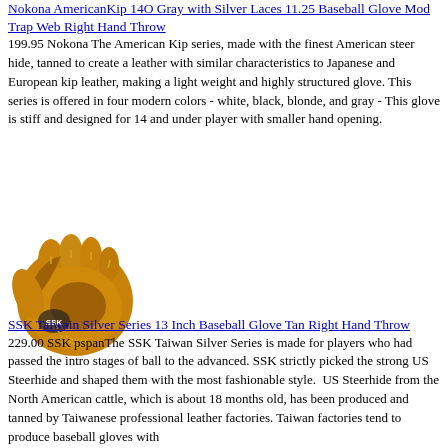Nokona AmericanKip 14O Gray with Silver Laces 11.25 Baseball Glove Mod Trap Web Right Hand Throw 199.95 Nokona The American Kip series, made with the finest American steer hide, tanned to create a leather with similar characteristics to Japanese and European kip leather, making a light weight and highly structured glove. This series is offered in four modern colors - white, black, blonde, and gray - This glove is stiff and designed for 14 and under player with smaller hand opening.
[Figure (photo): A tan/gold colored baseball glove (SSK brand) on a white background]
SSK Taiwain Silver Series 13 Inch Baseball Glove Tan Right Hand Throw 229.00 SSK pspanThe SSK Taiwan Silver Series is made for players who had passed the intro stages of ball to the advanced. SSK strictly picked the strong US Steerhide and shaped them with the most fashionable style. US Steerhide from the North American cattle, which is about 18 months old, has been produced and tanned by Taiwanese professional leather factories. Taiwan factories tend to produce baseball gloves with